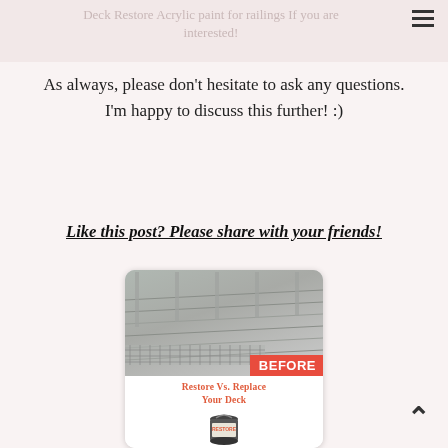Deck Restore Acrylic paint for railings If you are interested!
As always, please don't hesitate to ask any questions. I'm happy to discuss this further! :)
Like this post? Please share with your friends!
[Figure (photo): A before photo of a weathered deck with railings, with a red 'BEFORE' label, and a card showing 'RESTORE VS. REPLACE YOUR DECK' with a paint can image below.]